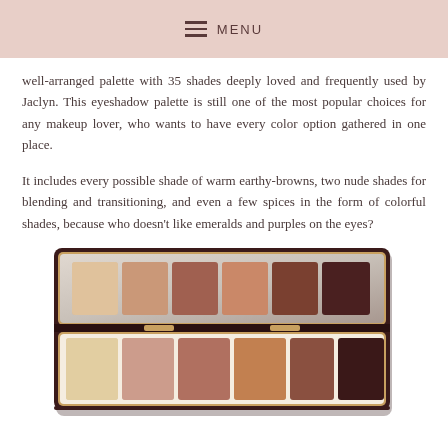MENU
well-arranged palette with 35 shades deeply loved and frequently used by Jaclyn. This eyeshadow palette is still one of the most popular choices for any makeup lover, who wants to have every color option gathered in one place.
It includes every possible shade of warm earthy-browns, two nude shades for blending and transitioning, and even a few spices in the form of colorful shades, because who doesn't like emeralds and purples on the eyes?
[Figure (photo): An open eyeshadow palette showing two rows of warm-toned eyeshadow shades ranging from champagne/gold shimmer to deep brownish-black, in a dark brown/burgundy case with gold trim.]